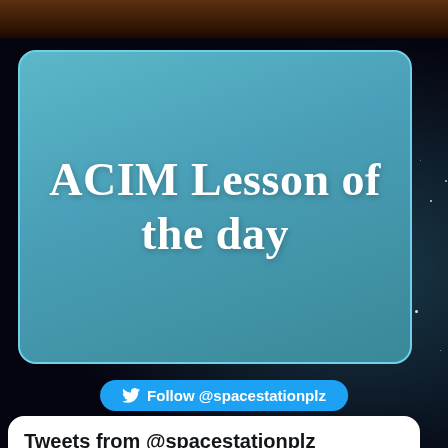[Figure (screenshot): Space/stars background with brown top bar]
ACIM Lesson of the day
Follow @spacestationplz
Tweets from @spacestationplz
SpaceStationPlaza @spacestationplz · Jul 18